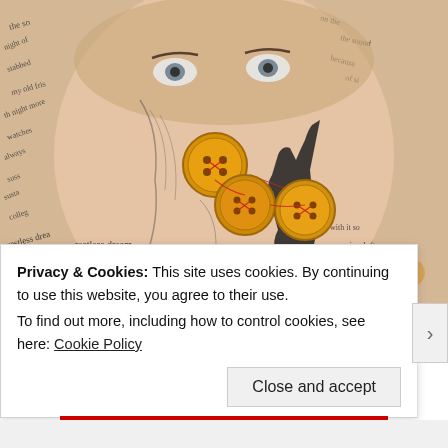[Figure (illustration): Mixed media artwork showing a face with handwritten text in the background, yellow/orange buttons arranged on the face area, a black hand silhouette, and bandage-like shapes at the bottom. Handwritten words include 'restless dream', 'walked alone', 'creeping left', and various other fragmentary phrases.]
Privacy & Cookies: This site uses cookies. By continuing to use this website, you agree to their use.
To find out more, including how to control cookies, see here: Cookie Policy
Close and accept